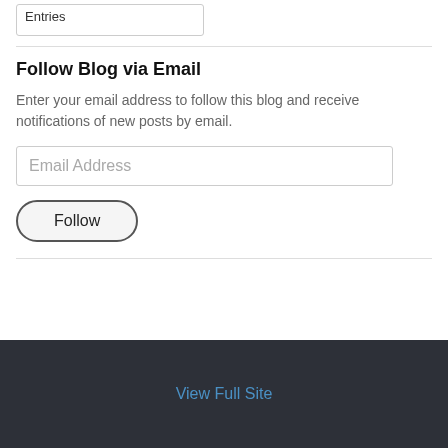[Figure (other): A small text input form field with rounded border, partially visible at the top of the page]
Follow Blog via Email
Enter your email address to follow this blog and receive notifications of new posts by email.
[Figure (other): Email Address text input field with border]
[Figure (other): Follow button with rounded pill-shape border]
View Full Site